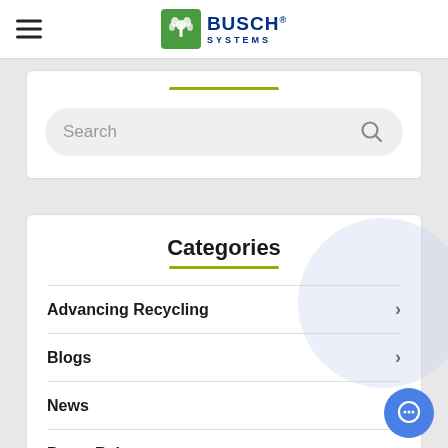[Figure (logo): Busch Systems logo with green tree icon and blue text reading BUSCH SYSTEMS]
[Figure (screenshot): Search bar with placeholder text Search and a magnifying glass icon]
Categories
Advancing Recycling
Blogs
News
Press Releases